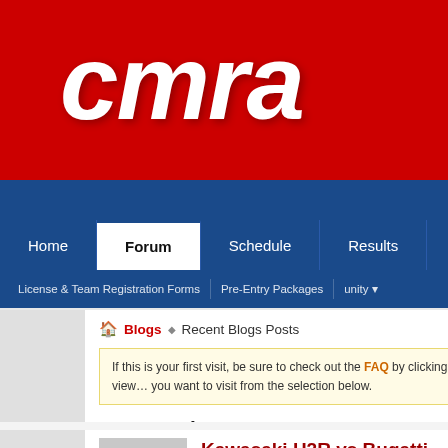[Figure (screenshot): CMRA website header banner with red background and white italic bold 'cmra' logo text, with login fields (Your Name, Password) in top right corner and a motorcycle rider graphic]
[Figure (screenshot): Navigation bar with tabs: Home, Forum (active/selected), Schedule, Results, Rule Book; and a secondary nav bar with: License & Team Registration Forms, Pre-Entry Packages, and other items]
Blogs ▸ Recent Blogs Posts
If this is your first visit, be sure to check out the FAQ by clicking the link above before you can post: click the register link above to proceed. To start viewing messages, select the forum that you want to visit from the selection below.
Recent Blogs Posts
Kawasaki H2R vs Bugatti Veyron 1200HP 1/2 Mile
by Ryan Delcambre, 06-18-2015 at 04:36 PM
https://www.youtube.com/watch?v=gi5_...ature=youtu.be